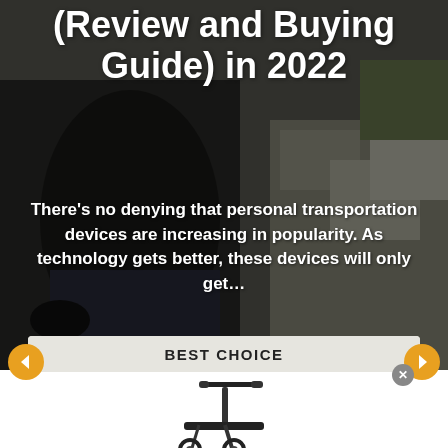[Figure (photo): Background photo of a person sitting outdoors near concrete blocks, with a personal transportation device visible]
(Review and Buying Guide) in 2022
There’s no denying that personal transportation devices are increasing in popularity. As technology gets better, these devices will only get…
BEST CHOICE
[Figure (photo): Electric scooter product image on white background]